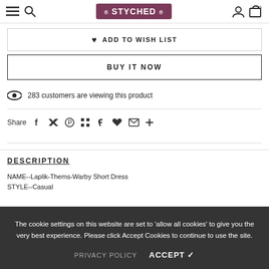STYCHED (navigation bar with menu, search, logo, account, cart)
♥ ADD TO WISH LIST
BUY IT NOW
283 customers are viewing this product
Share (social icons: Facebook, Twitter, Pinterest, Grid, Fancy, Like, Email, More)
DESCRIPTION
NAME--Laplik-Thems-Warby Short Dress
STYLE--Casual
The cookie settings on this website are set to 'allow all cookies' to give you the very best experience. Please click Accept Cookies to continue to use the site.
PRIVACY POLICY   ACCEPT ✔